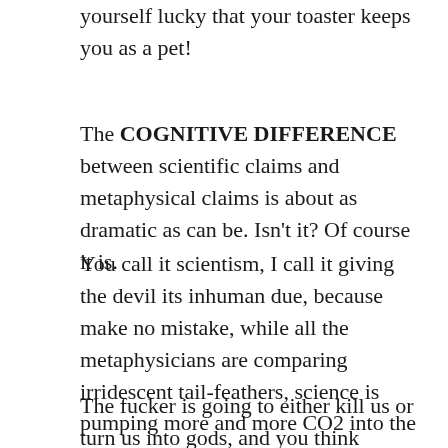yourself lucky that your toaster keeps you as a pet!
The COGNITIVE DIFFERENCE between scientific claims and metaphysical claims is about as dramatic as can be. Isn’t it? Of course it is.
You call it scientism, I call it giving the devil its inhuman due, because make no mistake, while all the metaphysicians are comparing irridescent tail-feathers, science is pumping more and more CO2 into the human garage.
The fucker is going to either kill us or turn us into gods, and you think people are too quick to think it THE concluding fact about our...